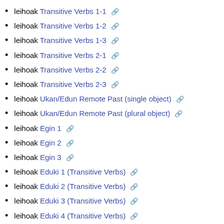leihoak Transitive Verbs 1-1 🔗
leihoak Transitive Verbs 1-2 🔗
leihoak Transitive Verbs 1-3 🔗
leihoak Transitive Verbs 2-1 🔗
leihoak Transitive Verbs 2-2 🔗
leihoak Transitive Verbs 2-3 🔗
leihoak Ukan/Edun Remote Past (single object) 🔗
leihoak Ukan/Edun Remote Past (plural object) 🔗
leihoak Egin 1 🔗
leihoak Egin 2 🔗
leihoak Egin 3 🔗
leihoak Eduki 1 (Transitive Verbs) 🔗
leihoak Eduki 2 (Transitive Verbs) 🔗
leihoak Eduki 3 (Transitive Verbs) 🔗
leihoak Eduki 4 (Transitive Verbs) 🔗
leihoak Jakin 1 🔗